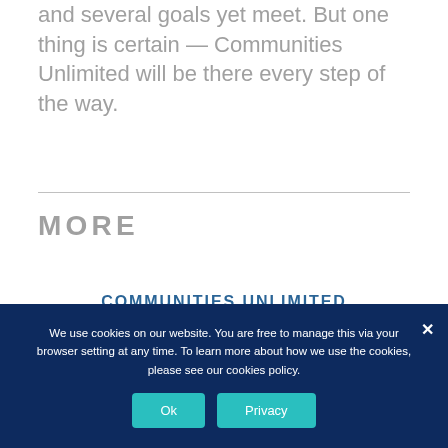and several goals yet meet. But one thing is certain — Communities Unlimited will be there every step of the way.
MORE
COMMUNITIES UNLIMITED COMMENTS ON PROPOSED
We use cookies on our website. You are free to manage this via your browser setting at any time. To learn more about how we use the cookies, please see our cookies policy.